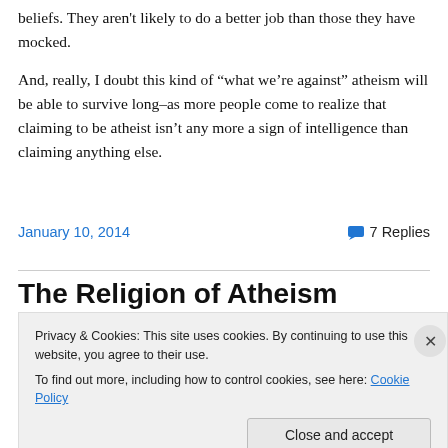beliefs. They aren't likely to do a better job than those they have mocked.
And, really, I doubt this kind of “what we’re against” atheism will be able to survive long–as more people come to realize that claiming to be atheist isn’t any more a sign of intelligence than claiming anything else.
January 10, 2014
7 Replies
The Religion of Atheism
Privacy & Cookies: This site uses cookies. By continuing to use this website, you agree to their use.
To find out more, including how to control cookies, see here: Cookie Policy
Close and accept